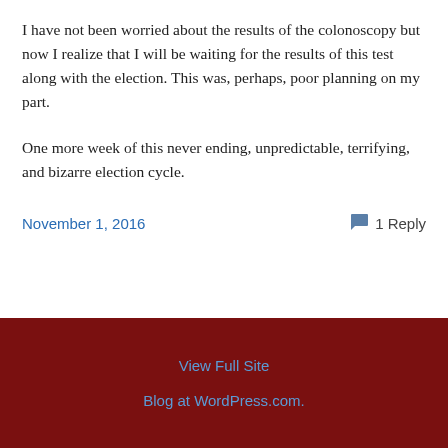I have not been worried about the results of the colonoscopy but now I realize that I will be waiting for the results of this test along with the election. This was, perhaps, poor planning on my part.
One more week of this never ending, unpredictable, terrifying, and bizarre election cycle.
November 1, 2016   1 Reply
View Full Site
Blog at WordPress.com.